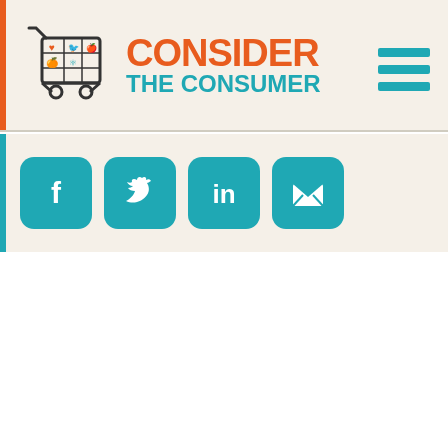[Figure (logo): Consider The Consumer logo with shopping cart icon and brand name in orange and teal]
[Figure (infographic): Four social media share buttons: Facebook, Twitter, LinkedIn, and Email (envelope), all in teal rounded-square style]